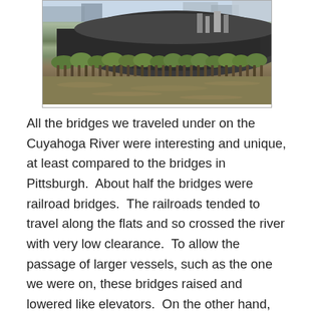[Figure (photo): Aerial or river-level view of the Cuyahoga River showing a riverbank with a large dark mound (coal or industrial material), green vegetation along the water's edge, and industrial structures in the background.]
All the bridges we traveled under on the Cuyahoga River were interesting and unique, at least compared to the bridges in Pittsburgh.  About half the bridges were railroad bridges.  The railroads tended to travel along the flats and so crossed the river with very low clearance.  To allow the passage of larger vessels, such as the one we were on, these bridges raised and lowered like elevators.  On the other hand, the bridges carrying roads were very tall as they traveled at the height of downtown and the western neighborhoods.  This also meant that most of them were very long as they not only crossed the river, but also